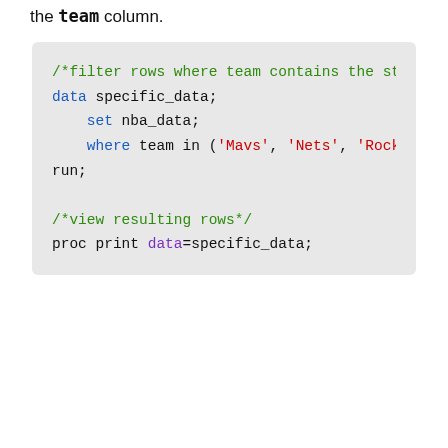the team column.
[Figure (screenshot): SAS code block showing: /*filter rows where team contains the str... data specific_data; set nba_data; where team in ('Mavs', 'Nets', 'Rocke... run; /*view resulting rows*/ proc print data=specific_data;]